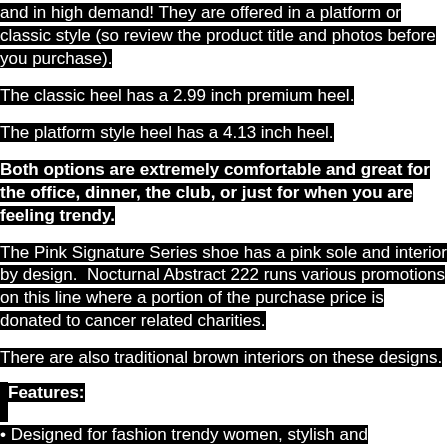and in high demand! They are offered in a platform or classic style (so review the product title and photos before you purchase).
The classic heel has a 2.99 inch premium heel.
The platform style heel has a 4.13 inch heel.
Both options are extremely comfortable and great for the office, dinner, the club, or just for when you are feeling trendy.
The Pink Signature Series shoe has a pink sole and interior by design.  Nocturnal Abstract 222 runs various promotions on this line where a portion of the purchase price is donated to cancer related charities.
There are also traditional brown interiors on these designs.
Features:
• Designed for fashion trendy women, stylish and personalized.